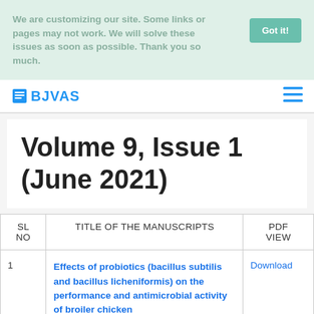We are customizing our site. Some links or pages may not work. We will solve these issues as soon as possible. Thank you so much.
BJVAS
Volume 9, Issue 1 (June 2021)
| SL No | TITLE OF THE MANUSCRIPTS | PDF VIEW |
| --- | --- | --- |
| 1 | Effects of probiotics (bacillus subtilis and bacillus licheniformis) on the performance and antimicrobial activity of broiler chicken | Download |